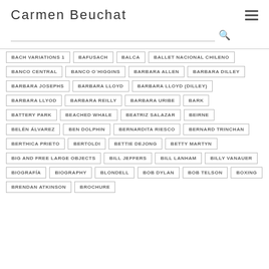Carmen Beuchat
BACH VARIATIONS 1
BAFUSACH
BALCA
BALLET NACIONAL CHILENO
BANCO CENTRAL
BANCO O´HIGGINS
BARBARA ALLEN
BARBARA DILLEY
BARBARA JOSEPHS
BARBARA LLOYD
BARBARA LLOYD (DILLEY)
BARBARA LLYOD
BARBARA REILLY
BARBARA URIBE
BARK
BATTERY PARK
BEACHED WHALE
BEATRIZ SALAZAR
BEIRNE
BELÉN ÁLVAREZ
BEN DOLPHIN
BERNARDITA RIESCO
BERNARD TRINCHAN
BERTHICA PRIETO
BERTOLDI
BETTIE DEJONG
BETTY MARTYN
BIG AND FREE LARGE OBJECTS
BILL JEFFERS
BILL LANHAM
BILLY VANAUER
BIOGRAFÍA
BIOGRAPHY
BLONDELL
BOB DYLAN
BOB TELSON
BOXING
BRENDAN ATKINSON
BROCHURE